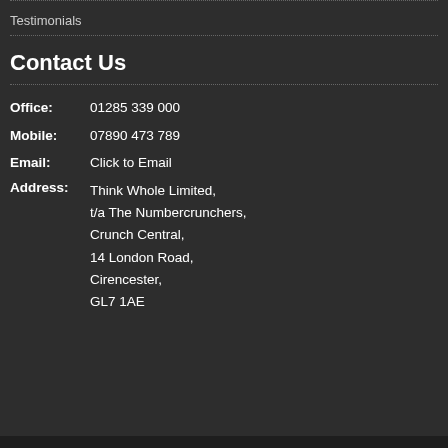Testimonials
Contact Us
Office: 01285 339 000
Mobile: 07890 473 789
Email: Click to Email
Address: Think Whole Limited, t/a The Numbercrunchers, Crunch Central, 14 London Road, Cirencester, GL7 1AE